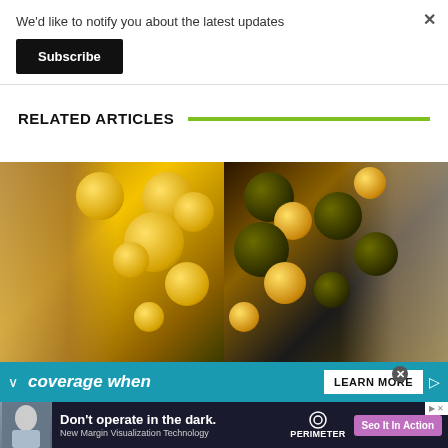We'd like to notify you about the latest updates
Subscribe
RELATED ARTICLES
[Figure (photo): Two photos side by side of people posing with gold and black balloons at a party]
[Figure (screenshot): Advertisement banner with teal background showing 'coverage when' text and LEARN MORE button]
[Figure (screenshot): Bottom advertisement: Don't operate in the dark. New Margin Visualization Technology. PERIMETER logo. Seo It In Action button.]